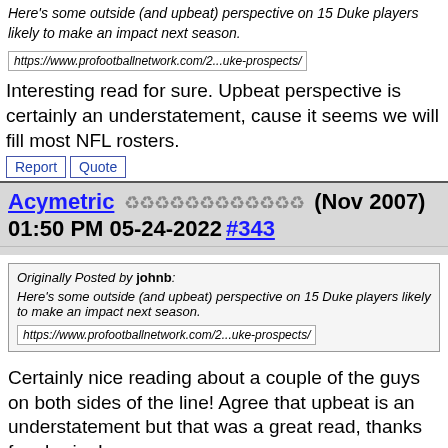Here's some outside (and upbeat) perspective on 15 Duke players likely to make an impact next season.
https://www.profootballnetwork.com/2...uke-prospects/
Interesting read for sure. Upbeat perspective is certainly an understatement, cause it seems we will fill most NFL rosters.
Report  Quote
Acymetric ♻♻♻♻♻♻♻♻♻♻♻♻ (Nov 2007) 01:50 PM 05-24-2022 #343
Originally Posted by johnb:
Here's some outside (and upbeat) perspective on 15 Duke players likely to make an impact next season.
https://www.profootballnetwork.com/2...uke-prospects/
Certainly nice reading about a couple of the guys on both sides of the line! Agree that upbeat is an understatement but that was a great read, thanks for sharing!